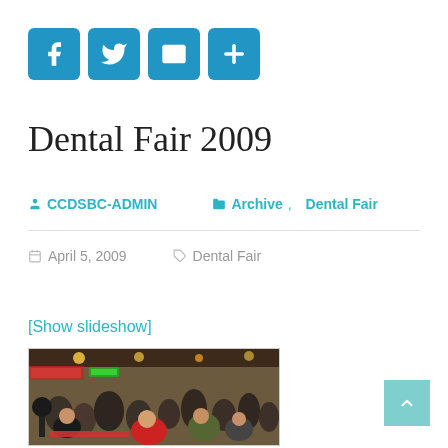[Figure (infographic): Social sharing icons: Facebook, Twitter, Email, More (plus sign), rendered as blue rounded square buttons]
Dental Fair 2009
CCDSBC-ADMIN   Archive, Dental Fair
April 5, 2009   Dental Fair
[Show slideshow]
[Figure (photo): Indoor event photo showing people seated and standing at tables in what appears to be a mall or community center, with colorful signs in the background. A dental fair event scene.]